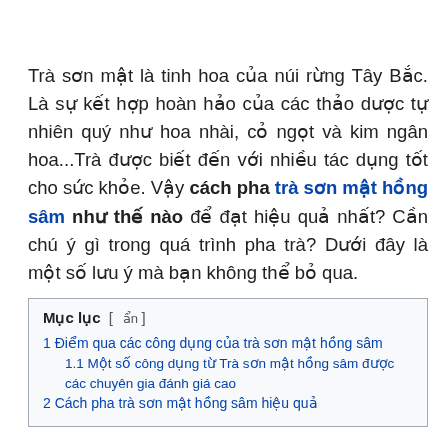Trà sơn mật là tinh hoa của núi rừng Tây Bắc. Là sự kết hợp hoàn hảo của các thảo dược tự nhiên quý như hoa nhài, cỏ ngọt và kim ngân hoa...Trà được biết đến với nhiều tác dụng tốt cho sức khỏe. Vậy cách pha trà sơn mật hồng sâm như thế nào để đạt hiệu quả nhất? Cần chú ý gì trong quá trình pha trà? Dưới đây là một số lưu ý mà bạn không thể bỏ qua.
Mục lục [ ẩn ]
1 Điểm qua các công dụng của trà sơn mật hồng sâm
1.1 Một số công dụng từ Trà sơn mật hồng sâm được các chuyên gia đánh giá cao
2 Cách pha trà sơn mật hồng sâm hiệu quả